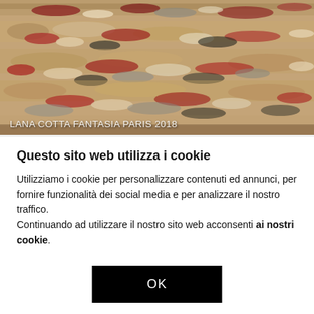[Figure (photo): Close-up photo of a textured wool rug with mixed colors including beige, red, black, grey and cream, with a caption overlay reading 'LANA COTTA FANTASIA PARIS 2018']
LANA COTTA FANTASIA PARIS 2018
Questo sito web utilizza i cookie
Utilizziamo i cookie per personalizzare contenuti ed annunci, per fornire funzionalità dei social media e per analizzare il nostro traffico.
Continuando ad utilizzare il nostro sito web acconsenti ai nostri cookie.